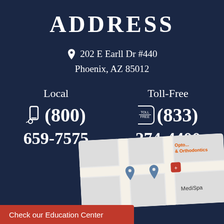ADDRESS
202 E Earll Dr #440
Phoenix, AZ 85012
Local
(800)
659-7575
Toll-Free
(833)
274-4400
[Figure (map): Street map showing location near MediSpa and Optometry & Orthodontics office with map pins]
Check our Education Center